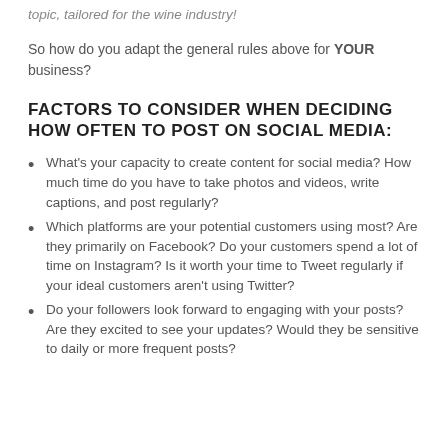topic, tailored for the wine industry!
So how do you adapt the general rules above for YOUR business?
FACTORS TO CONSIDER WHEN DECIDING HOW OFTEN TO POST ON SOCIAL MEDIA:
What's your capacity to create content for social media? How much time do you have to take photos and videos, write captions, and post regularly?
Which platforms are your potential customers using most? Are they primarily on Facebook? Do your customers spend a lot of time on Instagram? Is it worth your time to Tweet regularly if your ideal customers aren't using Twitter?
Do your followers look forward to engaging with your posts? Are they excited to see your updates? Would they be sensitive to daily or more frequent posts?